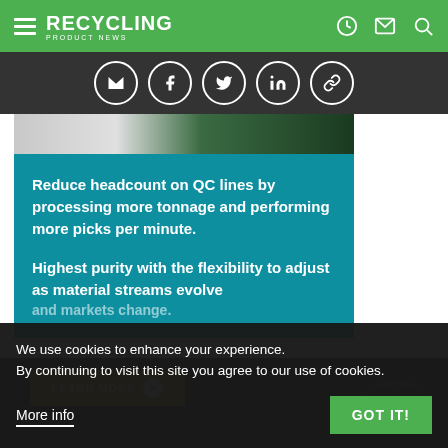RECYCLING PRODUCT NEWS
[Figure (screenshot): Website screenshot showing social sharing icons (email, Facebook, Twitter, LinkedIn, link) in circles on a dark bar, and a partial product image above a teal information panel]
Reduce headcount on QC lines by processing more tonnage and performing more picks per minute.
Highest purity with the flexibility to adjust as material streams evolve and markets change.
We use cookies to enhance your experience.
By continuing to visit this site you agree to our use of cookies.
More info
GOT IT!